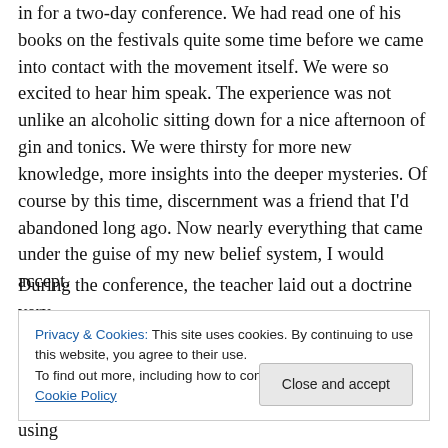in for a two-day conference. We had read one of his books on the festivals quite some time before we came into contact with the movement itself. We were so excited to hear him speak. The experience was not unlike an alcoholic sitting down for a nice afternoon of gin and tonics. We were thirsty for more new knowledge, more insights into the deeper mysteries. Of course by this time, discernment was a friend that I'd abandoned long ago. Now nearly everything that came under the guise of my new belief system, I would accept.
During the conference, the teacher laid out a doctrine very
Privacy & Cookies: This site uses cookies. By continuing to use this website, you agree to their use.
To find out more, including how to control cookies, see here: Cookie Policy
volumes of information in a few short hours without using